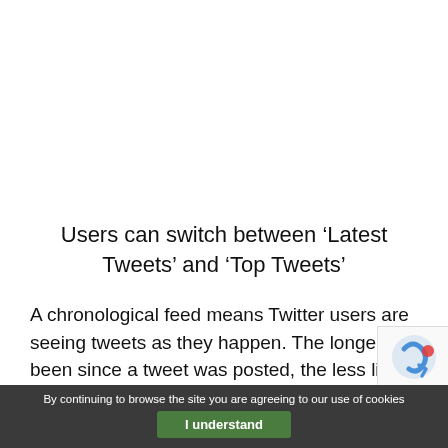Users can switch between ‘Latest Tweets’ and ‘Top Tweets’
A chronological feed means Twitter users are seeing tweets as they happen. The longer it’s been since a tweet was posted, the less likely a user will see it.
By continuing to browse the site you are agreeing to our use of cookies
I understand